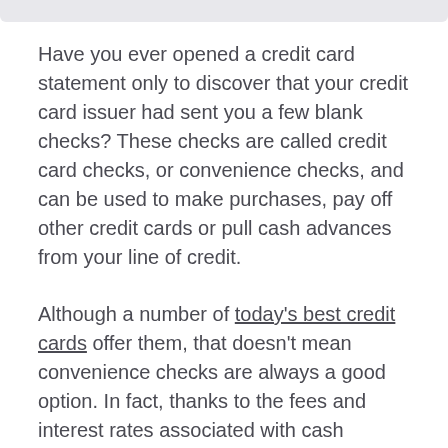Have you ever opened a credit card statement only to discover that your credit card issuer had sent you a few blank checks? These checks are called credit card checks, or convenience checks, and can be used to make purchases, pay off other credit cards or pull cash advances from your line of credit.
Although a number of today's best credit cards offer them, that doesn't mean convenience checks are always a good option. In fact, thanks to the fees and interest rates associated with cash advances, writing a convenience check could cost